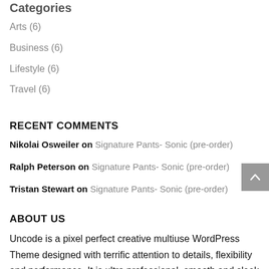Categories
Arts (6)
Business (6)
Lifestyle (6)
Travel (6)
RECENT COMMENTS
Nikolai Osweiler on Signature Pants- Sonic (pre-order)
Ralph Peterson on Signature Pants- Sonic (pre-order)
Tristan Stewart on Signature Pants- Sonic (pre-order)
ABOUT US
Uncode is a pixel perfect creative multiuse WordPress Theme designed with terrific attention to details, flexibility and performance. It is ultra professional, smooth and sleek, with a clean modern layout for almost any needs.